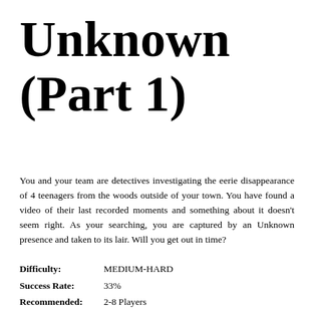Unknown (Part 1)
You and your team are detectives investigating the eerie disappearance of 4 teenagers from the woods outside of your town. You have found a video of their last recorded moments and something about it doesn't seem right. As your searching, you are captured by an Unknown presence and taken to its lair. Will you get out in time?
Difficulty: MEDIUM-HARD
Success Rate: 33%
Recommended: 2-8 Players